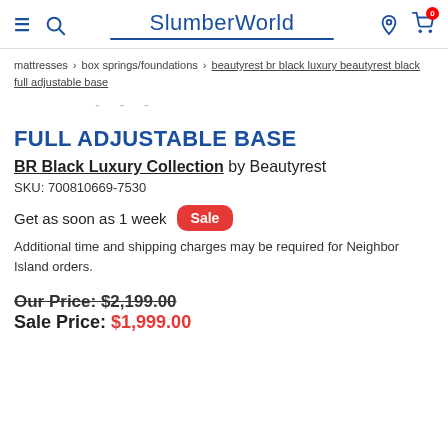SlumberWorld
mattresses > box springs/foundations > beautyrest br black luxury beautyrest black full adjustable base
FULL ADJUSTABLE BASE
BR Black Luxury Collection by Beautyrest
SKU: 700810669-7530
Get as soon as 1 week   Sale
Additional time and shipping charges may be required for Neighbor Island orders.
Our Price: $2,199.00
Sale Price: $1,999.00